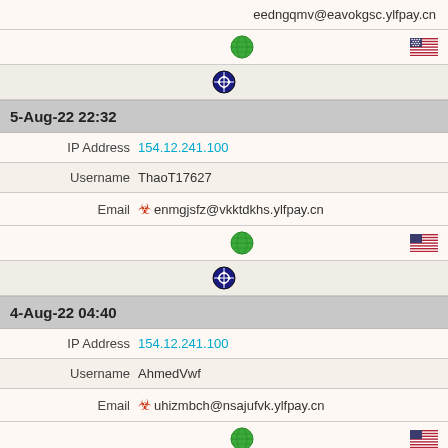eedngqmv@eavokgsc.ylfpay.cn
globe icon, US flag icon
shield icon
5-Aug-22 22:32
IP Address 154.12.241.100
Username ThaoT17627
Email enmgjsfz@vkktdkhs.ylfpay.cn
globe icon, US flag icon
shield icon
4-Aug-22 04:40
IP Address 154.12.241.100
Username AhmedVwf
Email uhizmbch@nsajufvk.ylfpay.cn
globe icon, US flag icon
shield icons (x2)
3-Aug-22 20:30
IP Address 154.12.241.100